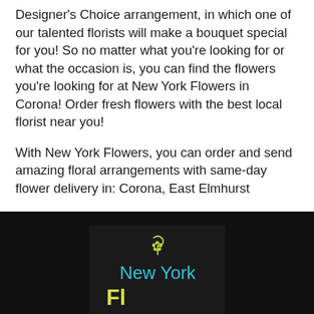Designer's Choice arrangement, in which one of our talented florists will make a bouquet special for you! So no matter what you're looking for or what the occasion is, you can find the flowers you're looking for at New York Flowers in Corona! Order fresh flowers with the best local florist near you!
With New York Flowers, you can order and send amazing floral arrangements with same-day flower delivery in: Corona, East Elmhurst
[Figure (logo): New York Flowers logo on dark background: yellow-green leaf icon above cyan 'New York' text, with yellow-green 'Fl' letters at bottom left]